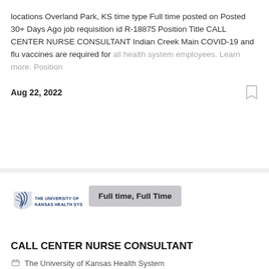locations Overland Park, KS time type Full time posted on Posted 30+ Days Ago job requisition id R-18875 Position Title CALL CENTER NURSE CONSULTANT Indian Creek Main COVID-19 and flu vaccines are required for all health system employees. Learn more. Position
Aug 22, 2022
[Figure (logo): The University of Kansas Health System logo with shield icon]
Full time, Full Time
CALL CENTER NURSE CONSULTANT
The University of Kansas Health System
Overland Park, KS, USA